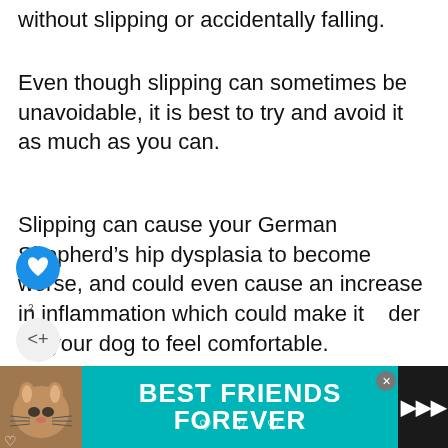without slipping or accidentally falling.
Even though slipping can sometimes be unavoidable, it is best to try and avoid it as much as you can.
Slipping can cause your German Shepherd’s hip dysplasia to become worse, and could even cause an increase in inflammation which could make it harder for your dog to feel comfortable.
you could also consider buying your Shepherds little booties to further reduce the chance of any accidental slipping in your home,
as
[Figure (screenshot): Mobile web UI overlay with heart/like button (blue circle), share button, footnote number 2, and 'WHAT'S NEXT' sidebar showing '9 Best CBD for German...' with a small dog image]
[Figure (photo): Advertisement banner: teal background with cat photo, large white bold text 'BEST FRIENDS FOREVER', close button (X), hearts decoration, and dark logo area with speaker icon on right]